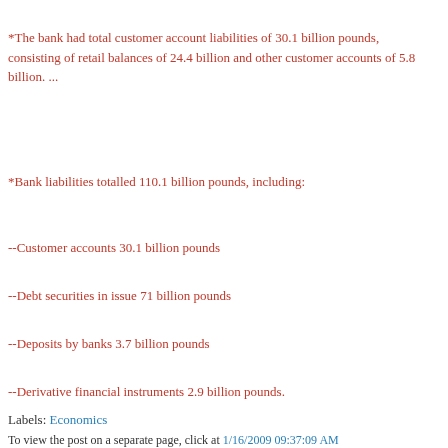*The bank had total customer account liabilities of 30.1 billion pounds, consisting of retail balances of 24.4 billion and other customer accounts of 5.8 billion. ...
*Bank liabilities totalled 110.1 billion pounds, including:
--Customer accounts 30.1 billion pounds
--Debt securities in issue 71 billion pounds
--Deposits by banks 3.7 billion pounds
--Derivative financial instruments 2.9 billion pounds.
Labels: Economics
To view the post on a separate page, click at 1/16/2009 09:37:09 AM